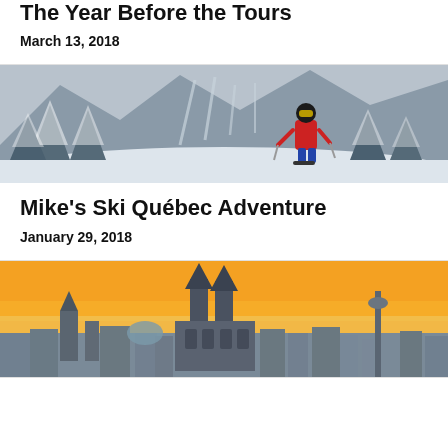The Year Before the Tours
March 13, 2018
[Figure (photo): A skier in a red jacket standing on a snowy mountain slope with heavily snow-covered evergreen trees and ski runs visible on the mountain in the background, overcast grey sky]
Mike's Ski Québec Adventure
January 29, 2018
[Figure (photo): Aerial panoramic view of a European city at sunset with an orange sky, featuring prominent Gothic cathedral spires (Cologne Cathedral) in the center, city skyline with buildings and a TV tower in the background]